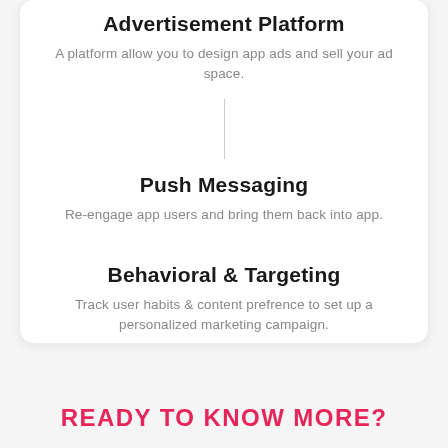Advertisement Platform
A platform allow you to design app ads and sell your ad space.
Push Messaging
Re-engage app users and bring them back into app.
Behavioral & Targeting
Track user habits & content prefrence to set up a personalized marketing campaign.
READY TO KNOW MORE?